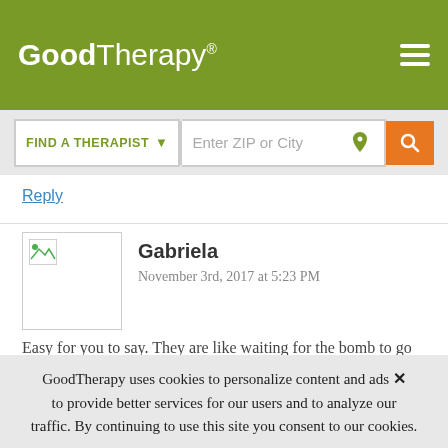GoodTherapy®
[Figure (screenshot): GoodTherapy website header with logo and hamburger menu on olive green background, and a search bar below with FIND A THERAPIST dropdown and Enter ZIP or City input]
Reply
Gabriela
November 3rd, 2017 at 5:23 PM
Easy for you to say. They are like waiting for the bomb to go off.
Reply
GoodTherapy uses cookies to personalize content and ads to provide better services for our users and to analyze our traffic. By continuing to use this site you consent to our cookies.